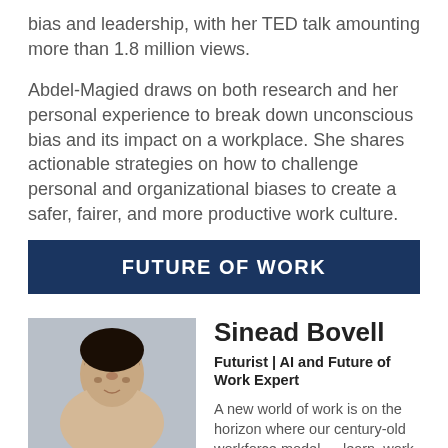bias and leadership, with her TED talk amounting more than 1.8 million views.
Abdel-Magied draws on both research and her personal experience to break down unconscious bias and its impact on a workplace. She shares actionable strategies on how to challenge personal and organizational biases to create a safer, fairer, and more productive work culture.
FUTURE OF WORK
[Figure (photo): Professional headshot of Sinead Bovell, a woman with dark hair]
Sinead Bovell
Futurist | AI and Future of Work Expert
A new world of work is on the horizon where our century-old workforce model — learn, work, retire